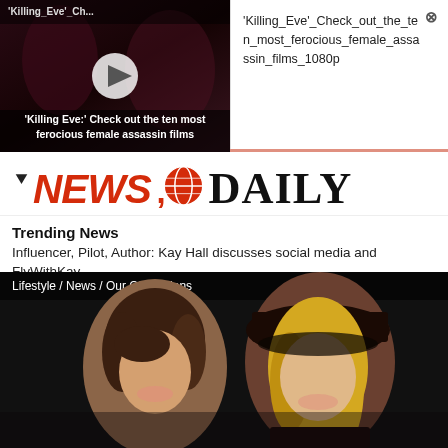[Figure (screenshot): Video thumbnail for 'Killing Eve' Check out the ten most ferocious female assassin films, with a play button overlay]
'Killing_Eve'_Check_out_the_ten_most_ferocious_female_assassin_films_1080p
[Figure (logo): News Daily logo with stylized red NEWS text, globe icon, and black DAILY text]
Trending News
Influencer, Pilot, Author: Kay Hall discusses social media and FlyWithKay
[Figure (photo): Photo of two smiling women, one with dark hair and one with blonde hair wearing a dark wide-brim hat]
Lifestyle / News / Our Obsessions